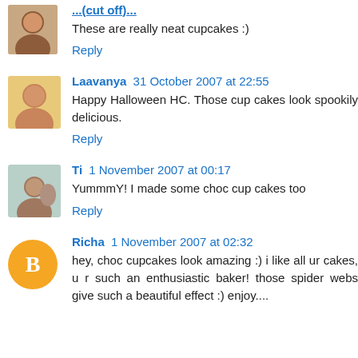These are really neat cupcakes :)
Reply
Laavanya 31 October 2007 at 22:55
Happy Halloween HC. Those cup cakes look spookily delicious.
Reply
Ti 1 November 2007 at 00:17
YummmY! I made some choc cup cakes too
Reply
Richa 1 November 2007 at 02:32
hey, choc cupcakes look amazing :) i like all ur cakes, u r such an enthusiastic baker! those spider webs give such a beautiful effect :) enjoy....